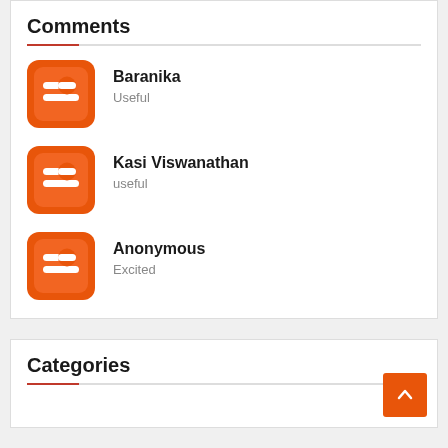Comments
Baranika
Useful
Kasi Viswanathan
useful
Anonymous
Excited
Categories